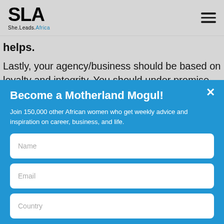SLA She.Leads.Africa
helps.
Lastly, your agency/business should be based on loyalty and integrity. You should under promise and over
Become a Motherland Mogul!
Join 150,000 other African women who get weekly advice and inspiration on career, business, and life.
Name
Email
Country
YES, I'M IN!